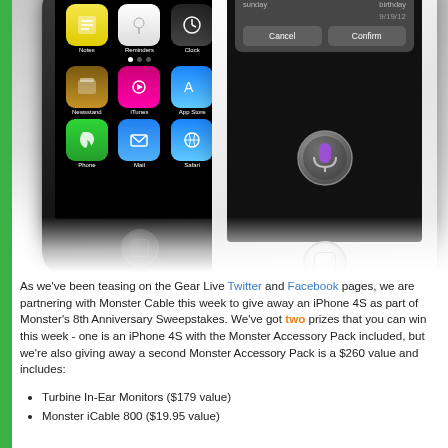[Figure (photo): Two iPhones side by side — a black iPhone 4S on the left showing home screen with apps (Notes, Reminders, Clock, Newsstand, iTunes, App Store, Phone, Mail, Safari), and a white iPhone 4S on the right showing a Siri dialog with Cancel/Confirm buttons and date 9/19/12, with a Siri microphone icon below. Both phones have their home buttons visible. Phones are shown against a light gray gradient background with a white reflection below.]
As we've been teasing on the Gear Live Twitter and Facebook pages, we are partnering with Monster Cable this week to give away an iPhone 4S as part of Monster's 8th Anniversary Sweepstakes. We've got two prizes that you can win this week - one is an iPhone 4S with the Monster Accessory Pack included, but we're also giving away a second Monster Accessory Pack is a $260 value and includes:
Turbine In-Ear Monitors ($179 value)
Monster iCable 800 ($19.95 value)